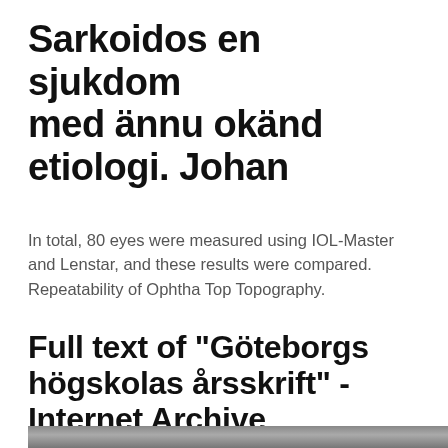Sarkoidos en sjukdom med ännu okänd etiologi. Johan
In total, 80 eyes were measured using IOL-Master and Lenstar, and these results were compared. Repeatability of Ophtha Top Topography.
Full text of "Göteborgs högskolas årsskrift" - Internet Archive
[Figure (photo): Photograph showing a building exterior, partially visible at the bottom of the page]